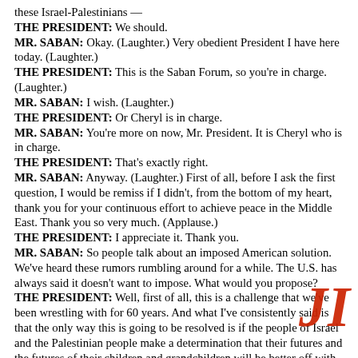these Israel-Palestinians —
THE PRESIDENT: We should.
MR. SABAN: Okay. (Laughter.) Very obedient President I have here today. (Laughter.)
THE PRESIDENT: This is the Saban Forum, so you're in charge. (Laughter.)
MR. SABAN: I wish. (Laughter.)
THE PRESIDENT: Or Cheryl is in charge.
MR. SABAN: You're more on now, Mr. President. It is Cheryl who is in charge.
THE PRESIDENT: That's exactly right.
MR. SABAN: Anyway. (Laughter.) First of all, before I ask the first question, I would be remiss if I didn't, from the bottom of my heart, thank you for your continuous effort to achieve peace in the Middle East. Thank you so very much. (Applause.)
THE PRESIDENT: I appreciate it. Thank you.
MR. SABAN: So people talk about an imposed American solution. We've heard these rumors rumbling around for a while. The U.S. has always said it doesn't want to impose. What would you propose?
THE PRESIDENT: Well, first of all, this is a challenge that we've been wrestling with for 60 years. And what I've consistently said is that the only way this is going to be resolved is if the people of Israel and the Palestinian people make a determination that their futures and the futures of their children and grandchildren will be better off with peace than with conflict. The United States can be an effective facilitator of that negotiation and